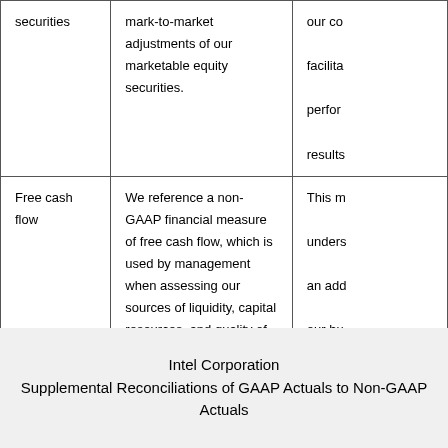|  | Description | Usefulness |
| --- | --- | --- |
| securities | mark-to-market adjustments of our marketable equity securities. | our co
facilita
perfor
results |
| Free cash flow | We reference a non-GAAP financial measure of free cash flow, which is used by management when assessing our sources of liquidity, capital resources, and quality of earnings. Free cash flow is operating cash flow adjusted to exclude additions to property, plant and equipment. | This m
underst
an add
our bu
subtra
and eq
repres
and we |
Intel Corporation
Supplemental Reconciliations of GAAP Actuals to Non-GAAP Actuals